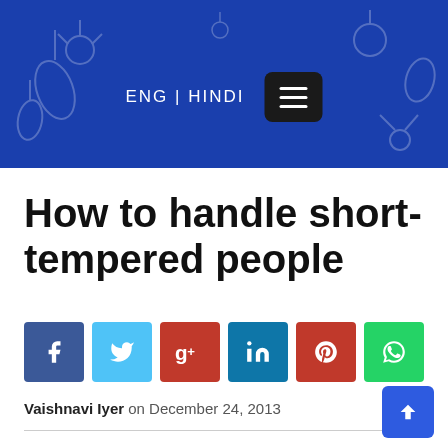ENG | HINDI
How to handle short-tempered people
[Figure (infographic): Social share buttons: Facebook, Twitter, Google+, LinkedIn, Pinterest, WhatsApp]
Vaishnavi Iyer on December 24, 2013